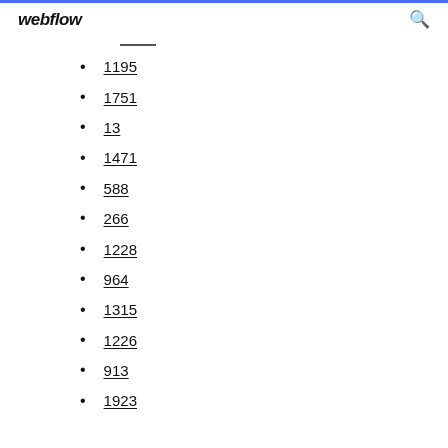webflow
1195
1751
13
1471
588
266
1228
964
1315
1226
913
1923